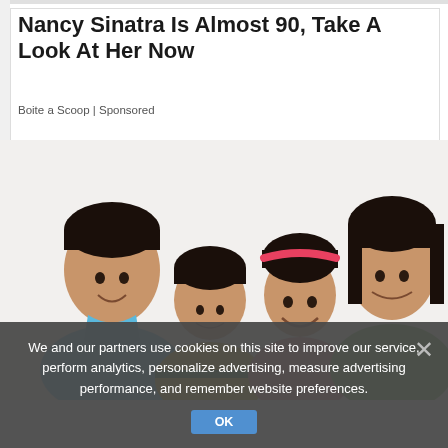Nancy Sinatra Is Almost 90, Take A Look At Her Now
Boite a Scoop | Sponsored
[Figure (photo): A smiling South Asian family of four — a young man in light blue polo shirt, a boy in yellow/green shirt, a girl with pink headband, and a woman in green top — posing together against a white background.]
We and our partners use cookies on this site to improve our service, perform analytics, personalize advertising, measure advertising performance, and remember website preferences.